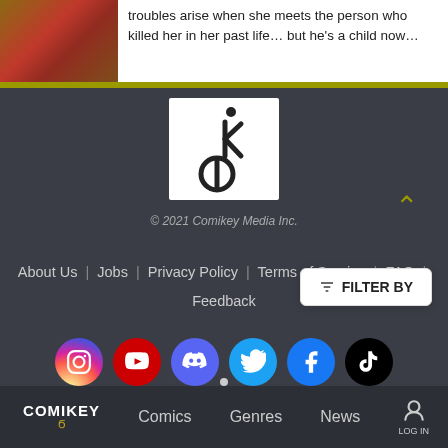troubles arise when she meets the person who killed her in her past life… but he's a child now…
[Figure (logo): Comikey Media logo — stylized ik and phi symbol in black on white background]
© 2021 Comikey Media Inc.
About Us | Jobs | Privacy Policy | Terms of Service | FAQ | Feedback
[Figure (infographic): Social media icons row: Instagram, YouTube, Discord, Twitter, Facebook, TikTok]
FILTER BY
Comics  Genres  News  LOG IN